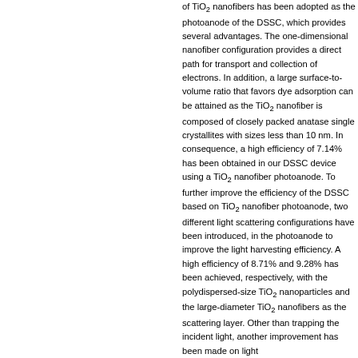of TiO₂ nanofibers has been adopted as the photoanode of the DSSC, which provides several advantages. The one-dimensional nanofiber configuration provides a direct path for transport and collection of electrons. In addition, a large surface-to-volume ratio that favors dye adsorption can be attained as the TiO₂ nanofiber is composed of closely packed anatase single crystallites with sizes less than 10 nm. In consequence, a high efficiency of 7.14% has been obtained in our DSSC device using a TiO₂ nanofiber photoanode. To further improve the efficiency of the DSSC based on TiO₂ nanofiber photoanode, two different light scattering configurations have been introduced, in the photoanode to improve the light harvesting efficiency. A high efficiency of 8.71% and 9.28% has been achieved, respectively, with the polydispersed-size TiO₂ nanoparticles and the large-diameter TiO₂ nanofibers as the scattering layer. Other than trapping the incident light, another improvement has been made on light